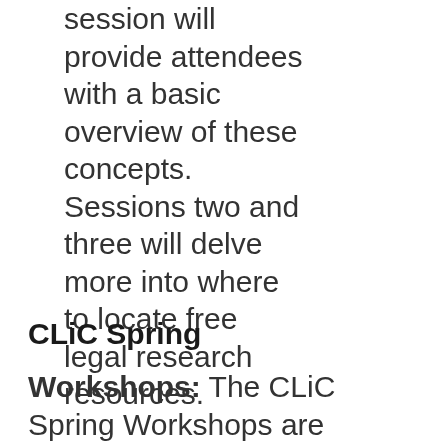session will provide attendees with a basic overview of these concepts. Sessions two and three will delve more into where to locate free legal research resources.
CLiC Spring
Workshops: The CLiC Spring Workshops are just around the corner